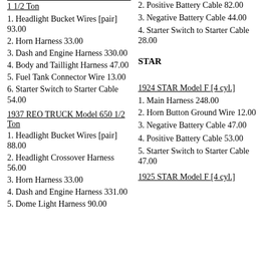1 1/2 Ton
1. Headlight Bucket Wires [pair] 93.00
2. Horn Harness 33.00
3. Dash and Engine Harness 330.00
4. Body and Taillight Harness 47.00
5. Fuel Tank Connector Wire 13.00
6. Starter Switch to Starter Cable 54.00
1937 REO TRUCK Model 650 1/2 Ton
1. Headlight Bucket Wires [pair] 88.00
2. Headlight Crossover Harness 56.00
3. Horn Harness 33.00
4. Dash and Engine Harness 331.00
5. Dome Light Harness 90.00
2. Positive Battery Cable 82.00
3. Negative Battery Cable 44.00
4. Starter Switch to Starter Cable 28.00
STAR
1924 STAR Model F [4 cyl.]
1. Main Harness 248.00
2. Horn Button Ground Wire 12.00
3. Negative Battery Cable 47.00
4. Positive Battery Cable 53.00
5. Starter Switch to Starter Cable 47.00
1925 STAR Model F [4 cyl.]